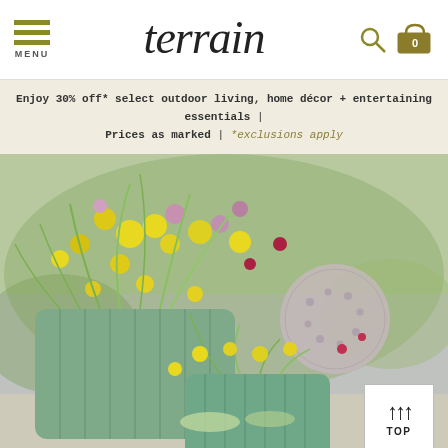terrain — MENU | search | cart (0)
Enjoy 30% off* select outdoor living, home décor + entertaining essentials | Prices as marked | *exclusions apply
[Figure (photo): Outdoor garden scene featuring sage-green ribbed planters filled with yellow flowers, wildflowers, purple alliums, and a large dried allium globe, set against a blurred lavender field background.]
↑↑↑ TOP